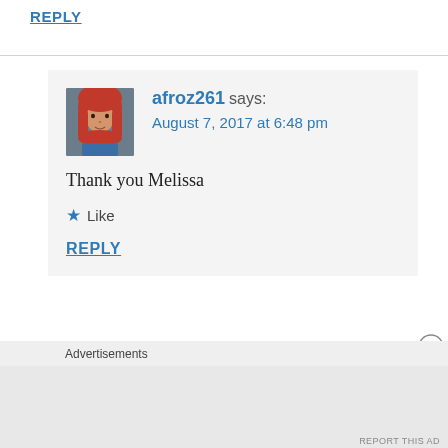REPLY
[Figure (photo): Avatar photo of afroz261 — a woman wearing a red hijab]
afroz261 says:
August 7, 2017 at 6:48 pm
Thank you Melissa
★ Like
REPLY
Advertisements